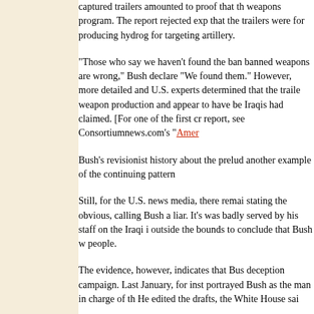captured trailers amounted to proof that the weapons program. The report rejected exp that the trailers were for producing hydrog for targeting artillery.
"Those who say we haven't found the ban banned weapons are wrong," Bush declare "We found them." However, more detailed and U.S. experts determined that the traile weapon production and appear to have be Iraqis had claimed. [For one of the first cr report, see Consortiumnews.com's "Amer
Bush's revisionist history about the prelud another example of the continuing pattern
Still, for the U.S. news media, there remai stating the obvious, calling Bush a liar. It's was badly served by his staff on the Iraqi i outside the bounds to conclude that Bush w people.
The evidence, however, indicates that Bus deception campaign. Last January, for inst portrayed Bush as the man in charge of th He edited the drafts, the White House sai